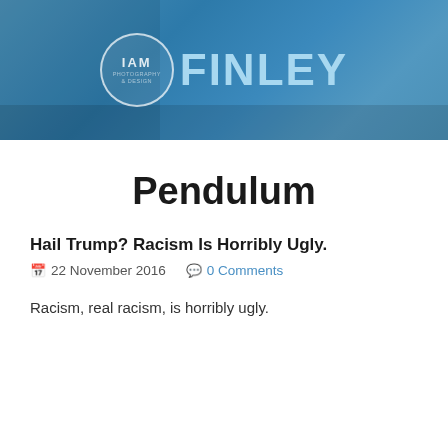[Figure (logo): IAM FINLEY blog header banner with circular logo on blue background]
Pendulum
Hail Trump? Racism Is Horribly Ugly.
22 November 2016   0 Comments
Racism, real racism, is horribly ugly.